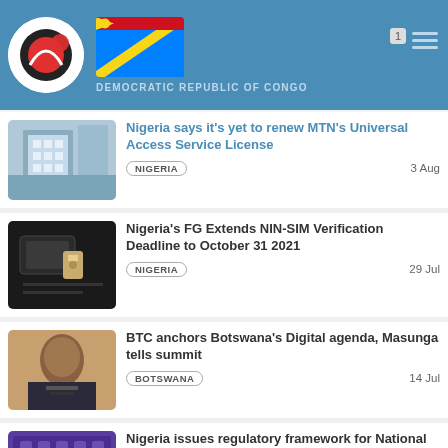DEMOCRATIC REPUBLIC OF CONGO
Nigeria says it's yet to renew MTN's Universal Access Service License | NIGERIA | 3 Aug
Nigeria's FG Extends NIN-SIM Verification Deadline to October 31 2021 | NIGERIA | 29 Jul
BTC anchors Botswana's Digital agenda, Masunga tells summit | BOTSWANA | 14 Jul
Nigeria issues regulatory framework for National Roaming | NIGERIA | 7 Jul
HRDC partners ministry for labour market website | BOTSWANA | 1 Jul